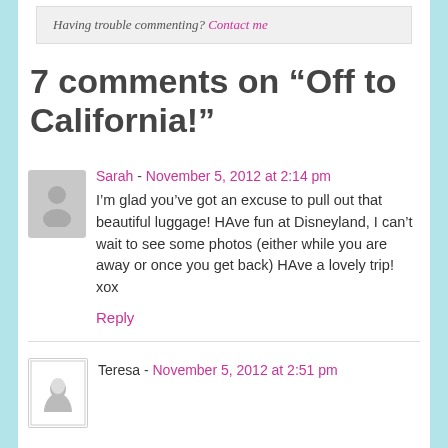Having trouble commenting? Contact me
7 comments on “Off to California!”
Sarah - November 5, 2012 at 2:14 pm
I’m glad you’ve got an excuse to pull out that beautiful luggage! HAve fun at Disneyland, I can’t wait to see some photos (either while you are away or once you get back) HAve a lovely trip! xox
Reply
Teresa - November 5, 2012 at 2:51 pm